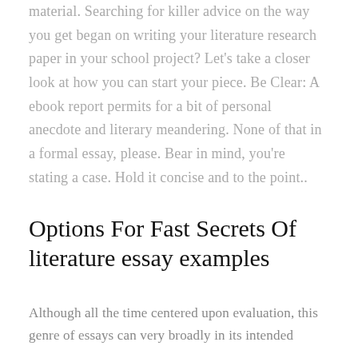material. Searching for killer advice on the way you get began on writing your literature research paper in your school project? Let's take a closer look at how you can start your piece. Be Clear: A ebook report permits for a bit of personal anecdote and literary meandering. None of that in a formal essay, please. Bear in mind, you're stating a case. Hold it concise and to the point..
Options For Fast Secrets Of literature essay examples
Although all the time centered upon evaluation, this genre of essays can very broadly in its intended